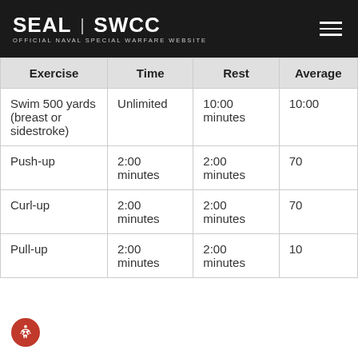SEAL | SWCC — OFFICIAL NAVAL SPECIAL WARFARE WEBSITE
| Exercise | Time | Rest | Average |
| --- | --- | --- | --- |
| Swim 500 yards (breast or sidestroke) | Unlimited | 10:00 minutes | 10:00 |
| Push-up | 2:00 minutes | 2:00 minutes | 70 |
| Curl-up | 2:00 minutes | 2:00 minutes | 70 |
| Pull-up | 2:00 minutes | 2:00 minutes | 10 |